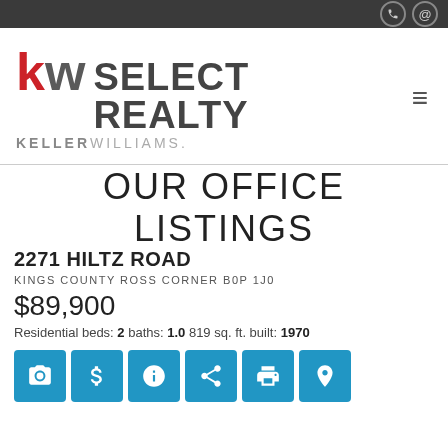KW SELECT REALTY KELLERWILLIAMS.
OUR OFFICE LISTINGS
2271 HILTZ ROAD
KINGS COUNTY ROSS CORNER B0P 1J0
$89,900
Residential beds: 2 baths: 1.0 819 sq. ft. built: 1970